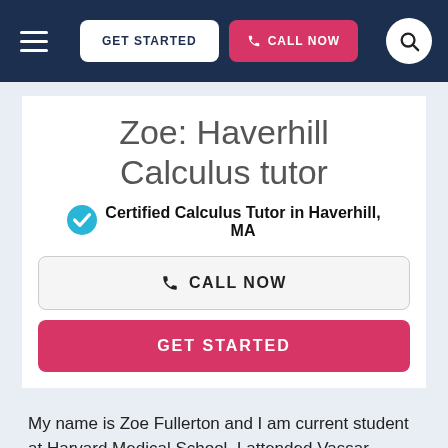GET STARTED | CALL NOW
Zoe: Haverhill Calculus tutor
Certified Calculus Tutor in Haverhill, MA
CALL NOW
GET STARTED
My name is Zoe Fullerton and I am current student at Harvard Medical School. I attended Vassar College as an undergraduate where I studied Science